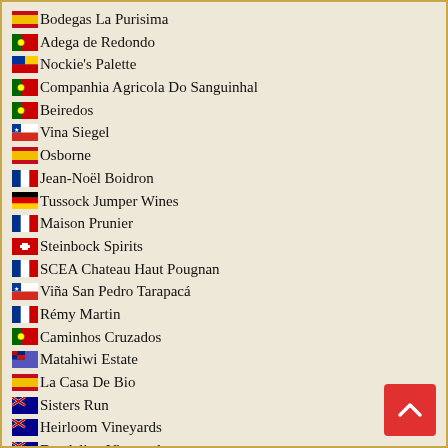Bodegas La Purisima
Adega de Redondo
Nockie's Palette
Companhia Agricola Do Sanguinhal
Beiredos
Vina Siegel
Osborne
Jean-Noël Boidron
Tussock Jumper Wines
Maison Prunier
Steinbock Spirits
SCEA Chateau Haut Pougnan
Viña San Pedro Tarapacá
Rémy Martin
Caminhos Cruzados
Matahiwi Estate
La Casa De Bio
Sisters Run
Heirloom Vineyards
Dandelion Vineyards